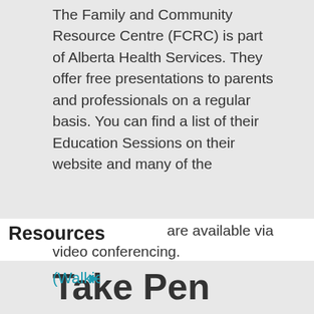The Family and Community Resource Centre (FCRC) is part of Alberta Health Services. They offer free presentations to parents and professionals on a regular basis. You can find a list of their Education Sessions on their website and many of the
Resources
are available via video conferencing.
Take Pen Spotlight Series
Learning is a complex task and teaching is even more complex given the diversity of learners in each classroom. This series of videos and tip sheets is a great new